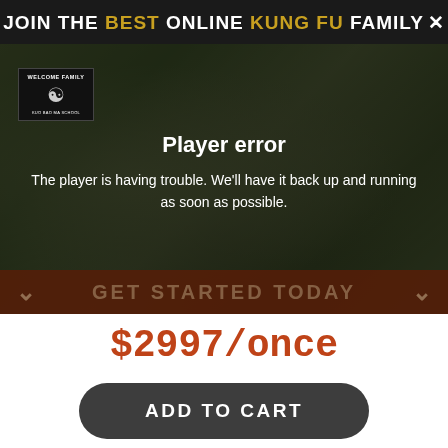JOIN THE BEST ONLINE KUNG FU FAMILY ×
[Figure (screenshot): Video player showing a group photo of people outdoors with a 'Welcome Family' sign and yin-yang logo banner. The player displays an error overlay with text 'Player error' and 'The player is having trouble. We'll have it back up and running as soon as possible.' A 'GET STARTED TODAY' bar appears at the bottom with chevron arrows on either side.]
$2997/once
ADD TO CART